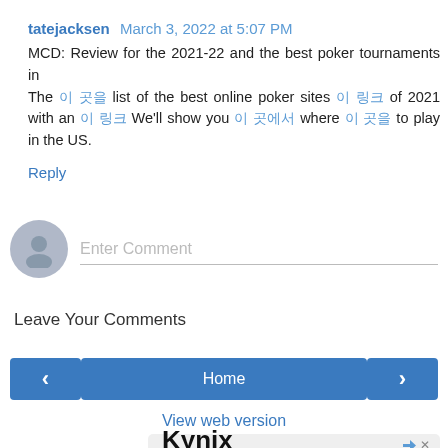tatejacksen March 3, 2022 at 5:07 PM
MCD: Review for the 2021-22 and the best poker tournaments in
The [링크] list of the best online poker sites [링크] of 2021 with an [링크] We'll show you [링크] where [링크] to play in the US.
Reply
[Figure (other): User avatar placeholder circle with silhouette icon and Enter Comment input field]
Leave Your Comments
[Figure (other): Navigation bar with left arrow button, Home button, and right arrow button]
View web version
[Figure (other): Advertisement box showing Kynix logo with ad controls]